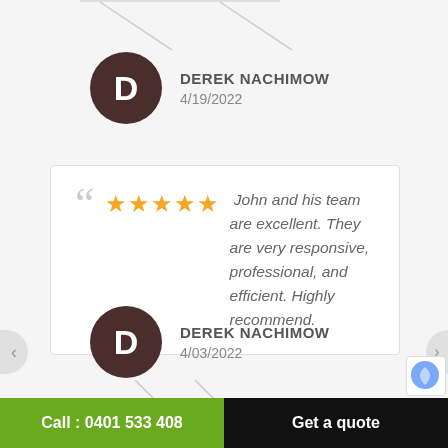DEREK NACHIMOW
4/19/2022
John and his team are excellent. They are very responsive, professional, and efficient. Highly recommend.
DEREK NACHIMOW
4/03/2022
Call: 0401 533 408 | Get a quote